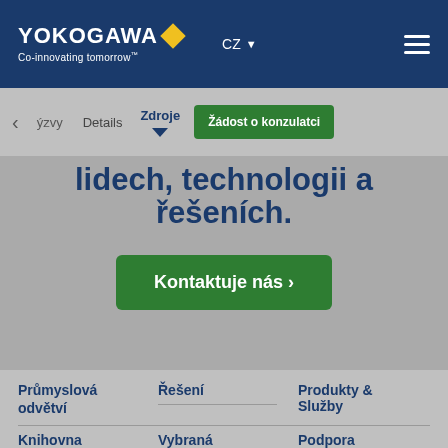YOKOGAWA Co-innovating tomorrow CZ
ýzvy   Details   Zdroje   Žádost o konzulatci
lidech, technologii a řešeních.
Kontaktuje nás ›
Průmyslová odvětví
Řešení
Produkty & Služby
Knihovna
Vybraná
Podpora